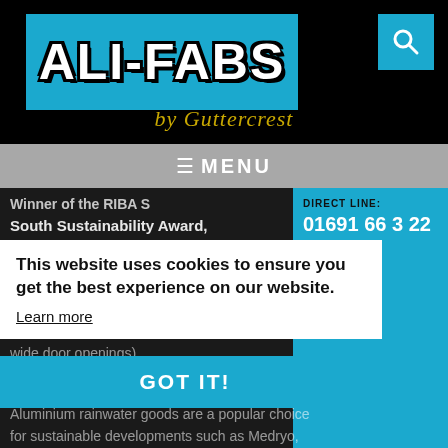[Figure (logo): Ali-Fabs by Guttercrest logo on blue background with black header, and search icon]
≡ MENU
Winner of the RIBA South Sustainability Award, homeowners were commis... There was a clear rationale also contained allowances for alterations in have to move (Lifetime homes, space for lift and wide door openings)...
DIRECT LINE: 01691 66 33 22 EMAIL
This website uses cookies to ensure you get the best experience on our website.
Learn more
GOT IT!
Aluminium rainwater goods are a popular choice for sustainable developments such as Medryo,